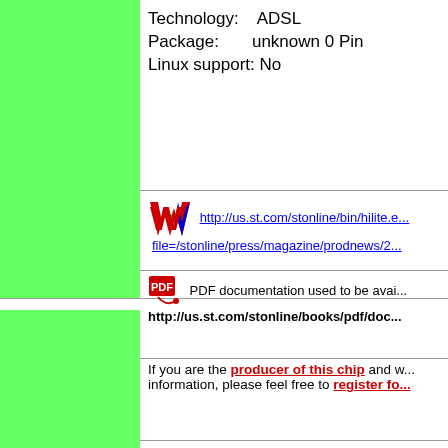Technology:    ADSL
Package:       unknown 0 Pin
Linux support: No
http://us.st.com/stonline/bin/hilite.e... file=/stonline/press/magazine/prodnews/2...
PDF documentation used to be avai... http://us.st.com/stonline/books/pdf/doc...
If you are the producer of this chip and w... information, please feel free to register fo...
Last update:
14.11. 2009
Last link check:
01.03. 2006
All registered names and trademarks a... their respective owners. No guarantee is given and no responsib... information provided. © 2022   Thomas Martin Knoll   knoll@chipweb.de   Imp... Datenschutz
[Figure (logo): ChipWeb spider logo - a cartoon spider on a book labeled Chip Web]